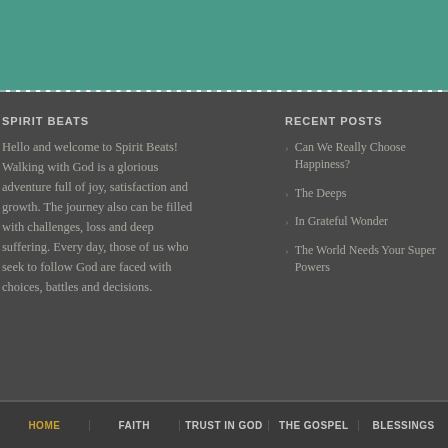[Figure (other): Teal/green decorative header banner]
SPIRIT BEATS
Hello and welcome to Spirit Beats! Walking with God is a glorious adventure full of joy, satisfaction and growth. The journey also can be filled with challenges, loss and deep suffering. Every day, those of us who seek to follow God are faced with choices, battles and decisions.
RECENT POSTS
Can We Really Choose Happiness?
The Deeps
In Grateful Wonder
The World Needs Your Super Powers
HOME   FAITH   TRUST IN GOD   THE GOSPEL   BLESSINGS